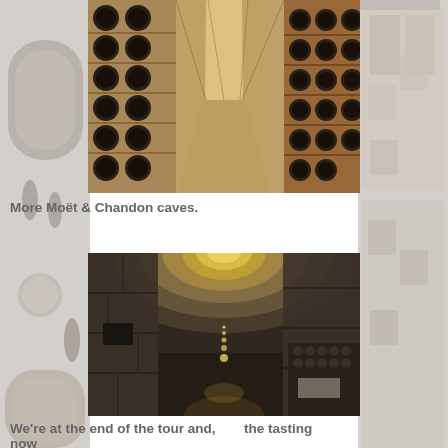[Figure (photo): Background photos of a European street scene with half-timbered buildings and an archway, faded and used as page background]
[Figure (photo): Interior of Moët & Chandon champagne caves showing rows of wine bottles stored in riddling racks in a dimly lit cellar corridor]
More Moët & Chandon caves.
[Figure (photo): Interior tunnel of Moët & Chandon caves showing a long stone arched corridor with warm lighting and wine bottles stacked on the right side]
We're at the end of the tour and, now        the tasting